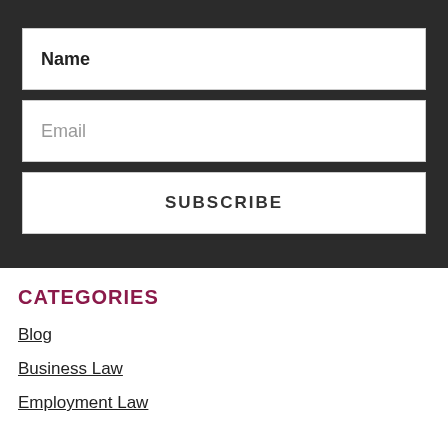Name
Email
SUBSCRIBE
CATEGORIES
Blog
Business Law
Employment Law